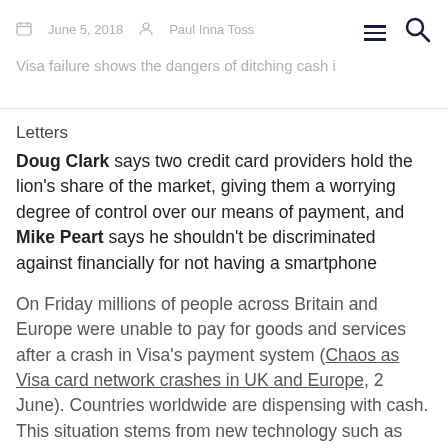Visa failure shows the dangers of ditching cash
Letters
Doug Clark says two credit card providers hold the lion's share of the market, giving them a worrying degree of control over our means of payment, and Mike Peart says he shouldn't be discriminated against financially for not having a smartphone
On Friday millions of people across Britain and Europe were unable to pay for goods and services after a crash in Visa's payment system (Chaos as Visa card network crashes in UK and Europe, 2 June). Countries worldwide are dispensing with cash. This situation stems from new technology such as phone payment apps and contactless systems. While few doubt its convenience, what are the downsides to a cashless society? Since 2008, banks are no longer held high in public esteem, and